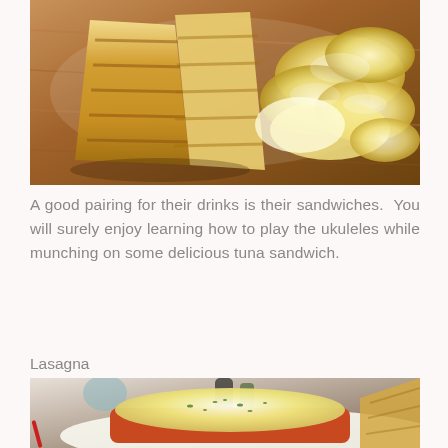[Figure (photo): Photo of a grilled sandwich cut diagonally with potato chips on a wooden serving board, viewed from above.]
A good pairing for their drinks is their sandwiches.  You will surely enjoy learning how to play the ukuleles while munching on some delicious tuna sandwich.
Lasagna
[Figure (photo): Close-up photo of a lasagna dish topped with melted cheese and herbs, served in a white dish on a wooden board with cutlery and condiments in the background.]